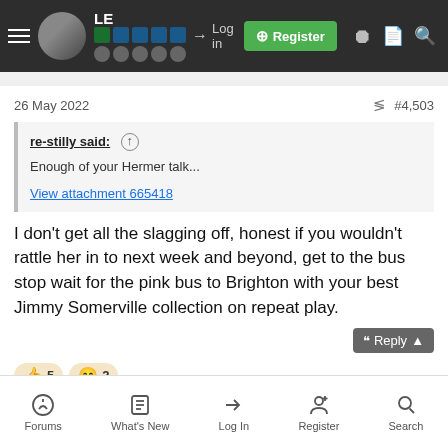LE  → Log in  Register
26 May 2022  #4,503
re-stilly said: ↑
Enough of your Hermer talk...

View attachment 665418
I don't get all the slagging off, honest if you wouldn't rattle her in to next week and beyond, get to the bus stop wait for the pink bus to Brighton with your best Jimmy Somerville collection on repeat play.
👍 5  😊 2
Forums  What's New  Log In  Register  Search